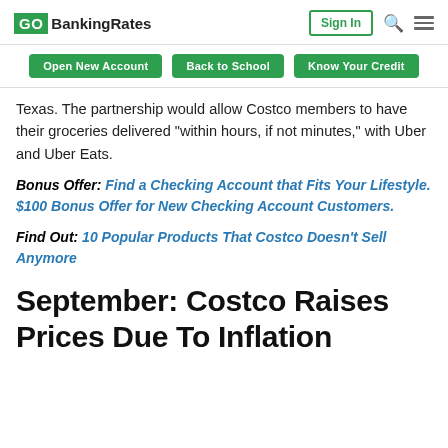GOBankingRates | Sign In | Search | Menu
Open New Account | Back to School | Know Your Credit
Texas. The partnership would allow Costco members to have their groceries delivered “within hours, if not minutes,” with Uber and Uber Eats.
Bonus Offer: Find a Checking Account that Fits Your Lifestyle. $100 Bonus Offer for New Checking Account Customers.
Find Out: 10 Popular Products That Costco Doesn’t Sell Anymore
September: Costco Raises Prices Due To Inflation